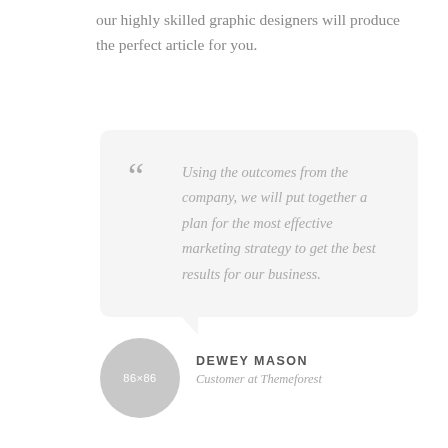our highly skilled graphic designers will produce the perfect article for you.
Using the outcomes from the company, we will put together a plan for the most effective marketing strategy to get the best results for our business.
DEWEY MASON
Customer at Themeforest